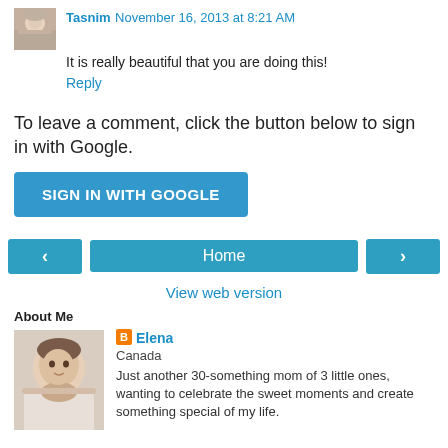Tasnim  November 16, 2013 at 8:21 AM
It is really beautiful that you are doing this!
Reply
To leave a comment, click the button below to sign in with Google.
SIGN IN WITH GOOGLE
Home
View web version
About Me
[Figure (photo): Profile photo of Elena]
Elena
Canada
Just another 30-something mom of 3 little ones, wanting to celebrate the sweet moments and create something special of my life.